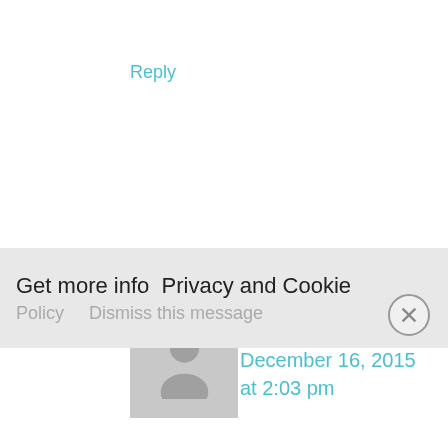Reply
Emily Ducatte says
December 16, 2015 at 2:03 pm
http://shop.hallmark.com/cards/greeting-cards/gold-frankincense-and-
Get more info  Privacy and Cookie Policy    Dismiss this message